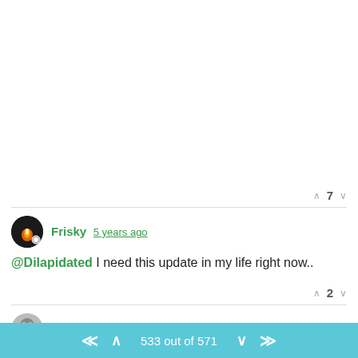^ 7 v
Frisky 5 years ago
@Dilapidated I need this update in my life right now..
^ 2 v
Chris W. 5 years ago
Oh this really looks interesting.Weird,the first Thing i noticed are those Hubcaps on the Stanier.Not the biggest Fan of that but after
533 out of 571